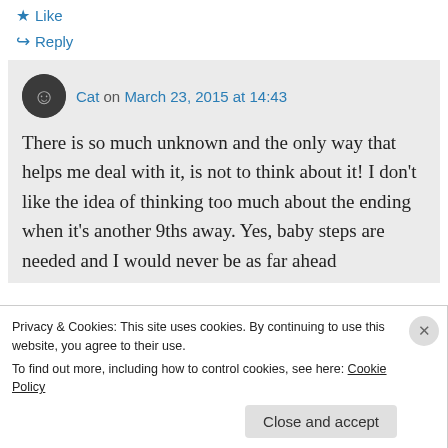★ Like
↪ Reply
Cat on March 23, 2015 at 14:43
There is so much unknown and the only way that helps me deal with it, is not to think about it! I don't like the idea of thinking too much about the ending when it's another 9ths away. Yes, baby steps are needed and I would never be as far ahead
Privacy & Cookies: This site uses cookies. By continuing to use this website, you agree to their use.
To find out more, including how to control cookies, see here: Cookie Policy